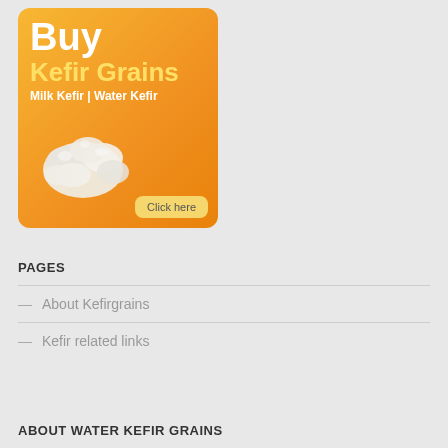[Figure (illustration): Orange advertisement banner for Buy Kefir Grains with text 'Buy Kefir Grains Milk Kefir | Water Kefir' and a photo of white kefir grains with a 'Click here' button]
PAGES
— About Kefirgrains
— Kefir related links
ABOUT WATER KEFIR GRAINS